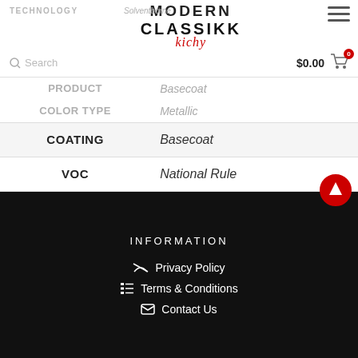MODERN CLASSIKK - TECHNOLOGY | Solventborne
| Label | Value |
| --- | --- |
| PRODUCT | Basecoat |
| COLOR TYPE | Metallic |
| COATING | Basecoat |
| VOC | National Rule |
INFORMATION
Privacy Policy
Terms & Conditions
Contact Us